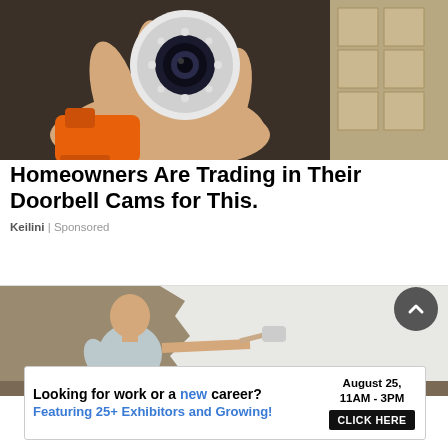[Figure (photo): A hand holding a white circular security camera with LED lights, with an orange power drill visible and cardboard boxes in the background.]
Homeowners Are Trading in Their Doorbell Cams for This.
Keilini | Sponsored
[Figure (photo): A bald man in a light grey t-shirt painting a tan/beige wall white with a paint roller on an extension pole.]
Looking for work or a new career? August 25, 11AM - 3PM Featuring 25+ Exhibitors and Growing! CLICK HERE